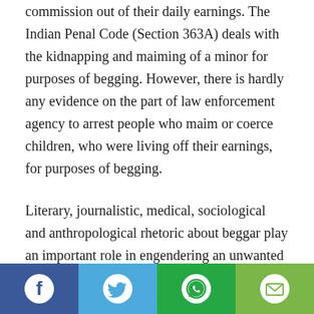commission out of their daily earnings. The Indian Penal Code (Section 363A) deals with the kidnapping and maiming of a minor for purposes of begging. However, there is hardly any evidence on the part of law enforcement agency to arrest people who maim or coerce children, who were living off their earnings, for purposes of begging.
Literary, journalistic, medical, sociological and anthropological rhetoric about beggar play an important role in engendering an unwanted image of beggars. Beggars constitute a large chunk of Indian population yet they dont have unions, they are no partys voter bank and the majority of privileged detest them. They are not
[Figure (infographic): Social media share bar with four buttons: Facebook (dark blue), Twitter (light blue), WhatsApp (green), Email (light green)]